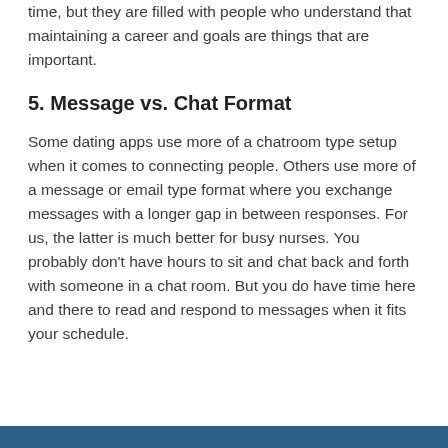time, but they are filled with people who understand that maintaining a career and goals are things that are important.
5. Message vs. Chat Format
Some dating apps use more of a chatroom type setup when it comes to connecting people. Others use more of a message or email type format where you exchange messages with a longer gap in between responses. For us, the latter is much better for busy nurses. You probably don't have hours to sit and chat back and forth with someone in a chat room. But you do have time here and there to read and respond to messages when it fits your schedule.